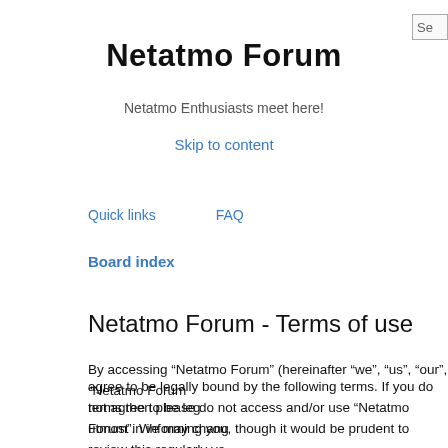Se
Netatmo Forum
Netatmo Enthusiasts meet here!
Skip to content
Quick links   FAQ
Board index
Netatmo Forum - Terms of use
By accessing “Netatmo Forum” (hereinafter “we”, “us”, “our”, “Netatmo Forum”) you agree to be legally bound by the following terms. If you do not agree to be legally bound by all of the following terms then please do not access and/or use “Netatmo Forum”. We may change these at any time and we’ll do our utmost in informing you, though it would be prudent to review this regularly yourself as your continued usage of “Netatmo Forum” after changes mean you agree to be legally bound by these terms as they are updated and/or amended.
Our forums are powered by phpBB (hereinafter “they”, “them”, “their”, “phpBB Limited”, “phpBB Teams”) which is a bulletin board solution released under the “GNU General Public License v2” (hereinafter “GPL”) and can be downloaded from www.phpbb.com. The phpBB software only facilitates internet based discussions; phpBB Limited is not responsible for wh